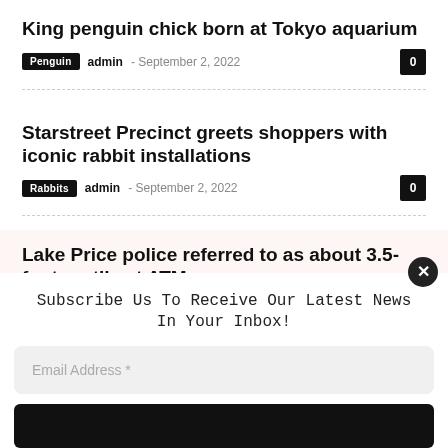King penguin chick born at Tokyo aquarium
Penguin  admin  -  September 2, 2022  0
Starstreet Precinct greets shoppers with iconic rabbit installations
Rabbits  admin  -  September 2, 2022  0
Lake Price police referred to as about 3.5-foot reptile at ATM
Subscribe Us To Receive Our Latest News In Your Inbox!
Email Address *